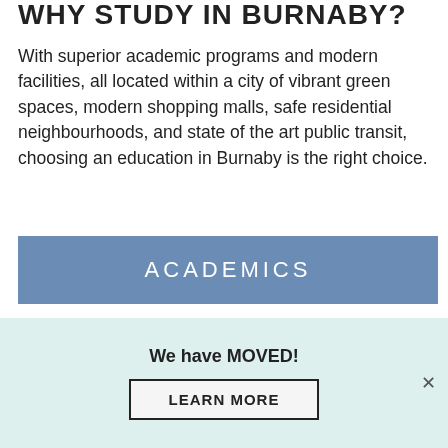WHY STUDY IN BURNABY?
With superior academic programs and modern facilities, all located within a city of vibrant green spaces, modern shopping malls, safe residential neighbourhoods, and state of the art public transit, choosing an education in Burnaby is the right choice.
ACADEMICS
Burnaby School District has one of the largest Advanced Placement (AP) programs in Canada
We have MOVED!
LEARN MORE